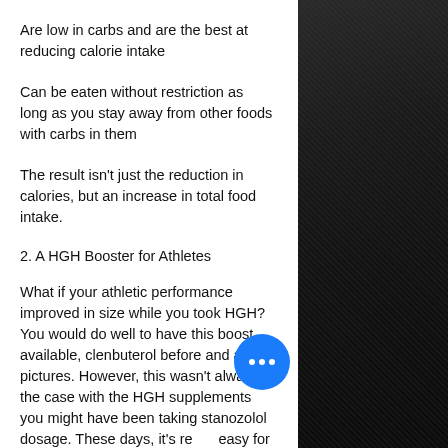Are low in carbs and are the best at reducing calorie intake
Can be eaten without restriction as long as you stay away from other foods with carbs in them
The result isn't just the reduction in calories, but an increase in total food intake.
2. A HGH Booster for Athletes
What if your athletic performance improved in size while you took HGH? You would do well to have this boost available, clenbuterol before and after pictures. However, this wasn't always the case with the HGH supplements you might have been taking stanozolol dosage. These days, it's really easy for athletes to get the most out of HGH and the sports supplement industry has